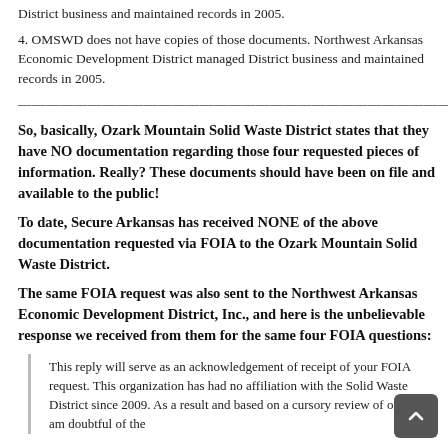District business and maintained records in 2005.
4. OMSWD does not have copies of those documents. Northwest Arkansas Economic Development District managed District business and maintained records in 2005.
————————————————————————————————————–
So, basically, Ozark Mountain Solid Waste District states that they have NO documentation regarding those four requested pieces of information. Really? These documents should have been on file and available to the public!
To date, Secure Arkansas has received NONE of the above documentation requested via FOIA to the Ozark Mountain Solid Waste District.
The same FOIA request was also sent to the Northwest Arkansas Economic Development District, Inc., and here is the unbelievable response we received from them for the same four FOIA questions:
This reply will serve as an acknowledgement of receipt of your FOIA request. This organization has had no affiliation with the Solid Waste District since 2009. As a result and based on a cursory review of our files I am doubtful of the